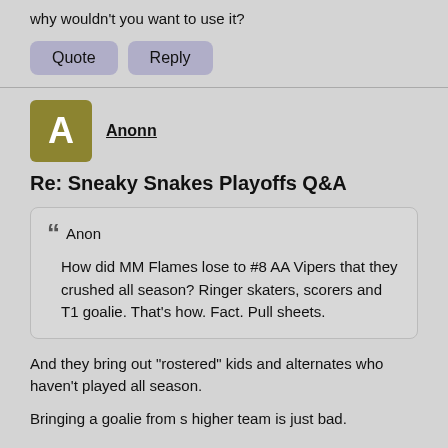why wouldn't you want to use it?
Quote | Reply
Anonn
Re: Sneaky Snakes Playoffs Q&A
Anon
How did MM Flames lose to #8 AA Vipers that they crushed all season? Ringer skaters, scorers and T1 goalie. That's how. Fact. Pull sheets.
And they bring out "rostered" kids and alternates who haven't played all season.

Bringing a goalie from s higher team is just bad.